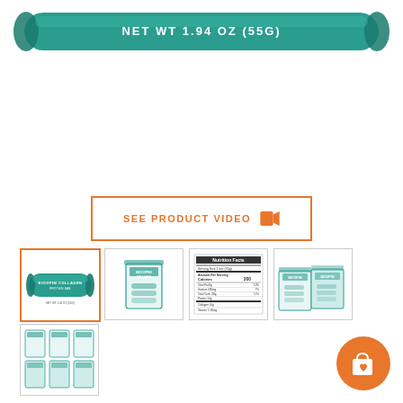[Figure (photo): Product packaging bar: teal/green elongated wrapper with text NET WT 1.94 OZ (55G) in white letters on a teal background]
[Figure (other): Orange-bordered button with text SEE PRODUCT VIDEO and an orange video camera icon]
[Figure (photo): Thumbnail 1 (selected, orange border): Front view of teal protein bar wrapper labeled BIOOPIM COLLAGEN PROTEIN BAR]
[Figure (photo): Thumbnail 2: Box of Bioopim Collagen Protein Bars, teal and white packaging]
[Figure (photo): Thumbnail 3: Nutrition facts label for the product]
[Figure (photo): Thumbnail 4: Two boxes of Bioopim Collagen Protein Bars]
[Figure (photo): Thumbnail 5: Bulk case/pack of Bioopim Collagen Protein Bars, multiple units shown]
[Figure (other): Orange circular shopping cart with heart icon button in bottom right corner]